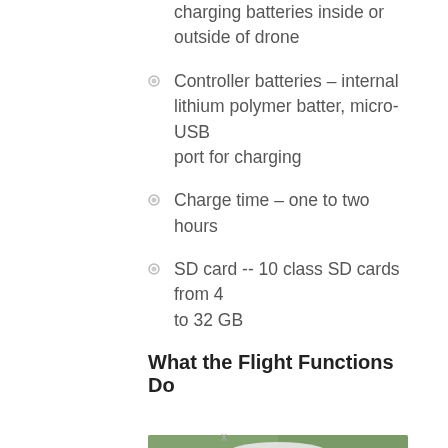charging batteries inside or outside of drone
Controller batteries – internal lithium polymer batter, micro-USB port for charging
Charge time – one to two hours
SD card -- 10 class SD cards from 4 to 32 GB
What the Flight Functions Do
[Figure (photo): Partial photo of a drone or drone controller against a green background, cropped at top and bottom]